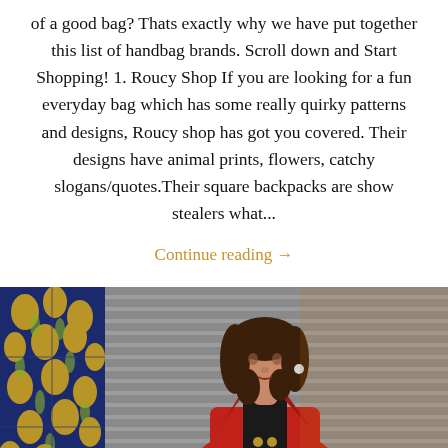of a good bag? Thats exactly why we have put together this list of handbag brands. Scroll down and Start Shopping! 1. Roucy Shop If you are looking for a fun everyday bag which has some really quirky patterns and designs, Roucy shop has got you covered. Their designs have animal prints, flowers, catchy slogans/quotes.Their square backpacks are show stealers what...
Continue reading →
[Figure (photo): A woman wearing a red double-breasted blazer and black top, with shoulder-length wavy brown hair, standing in front of a metal roller shutter and a decorative blue and yellow floral tile panel.]